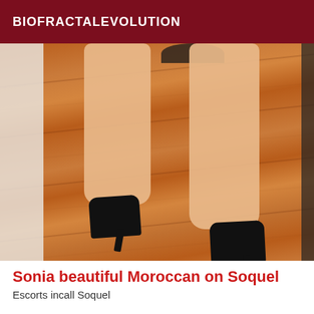BIOFRACTALEVOLUTION
[Figure (photo): Photo showing legs of a person wearing black high heels, standing on a wooden floor with a white door/wall visible on the left side.]
Sonia beautiful Moroccan on Soquel
Escorts incall Soquel